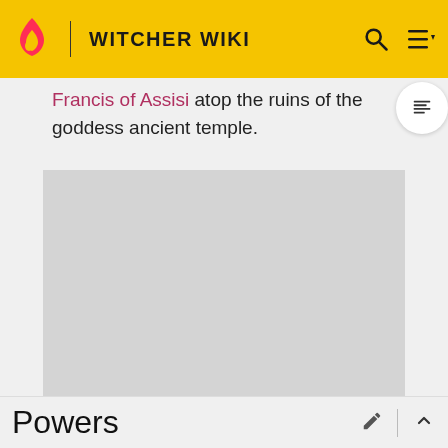WITCHER WIKI
Francis of Assisi atop the ruins of the goddess ancient temple.
[Figure (other): Advertisement placeholder (gray rectangle)]
ADVERTISEMENT
Powers